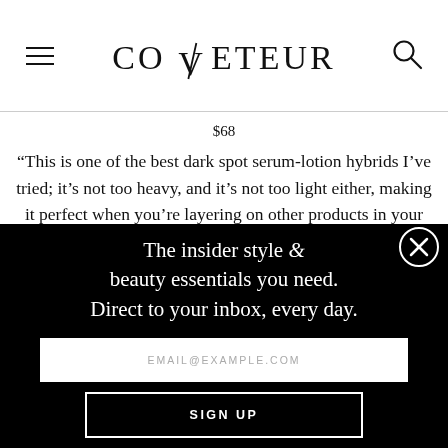COVETEUR
$68
“This is one of the best dark spot serum-lotion hybrids I’ve tried; it’s not too heavy, and it’s not too light either, making it perfect when you’re layering on other products in your routine. I also really like the founders
The insider style & beauty essentials you need. Direct to your inbox, every day.
EMAIL@EXAMPLE.COM
SIGN UP